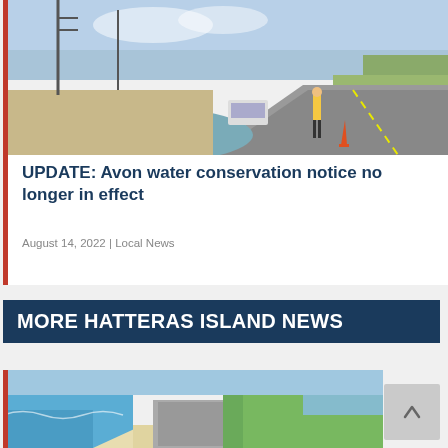[Figure (photo): Photo of a road with eroded shoulder, a worker in a yellow vest standing on the road, an orange traffic cone, and a vehicle in background. Power lines visible. Coastal landscape.]
UPDATE: Avon water conservation notice no longer in effect
August 14, 2022 | Local News
MORE HATTERAS ISLAND NEWS
[Figure (photo): Aerial photo of a narrow barrier island with ocean on the left, a road running along the center, and calm water on the right. Sandy beaches visible.]